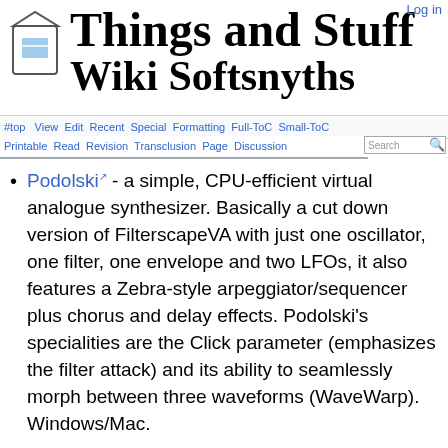Things and Stuff Wiki Softysnths
#top View Edit Recent Special Formatting Full-ToC Small-ToC | Printable Read Revision Transclusion Page Discussion Search
Podolski - a simple, CPU-efficient virtual analogue synthesizer. Basically a cut down version of FilterscapeVA with just one oscillator, one filter, one envelope and two LFOs, it also features a Zebra-style arpeggiator/sequencer plus chorus and delay effects. Podolski's specialities are the Click parameter (emphasizes the filter attack) and its ability to seamlessly morph between three waveforms (WaveWarp). Windows/Mac.